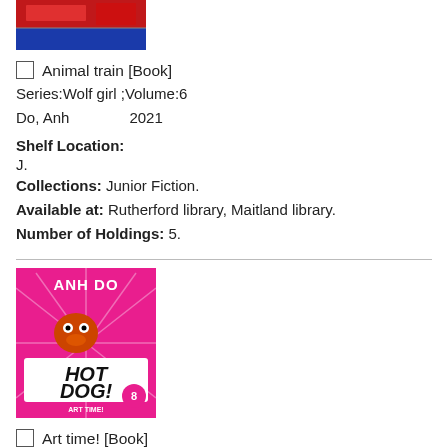[Figure (illustration): Top portion of a book cover with red and blue colors (Wolf girl series)]
Animal train [Book]
Series:Wolf girl ;Volume:6
Do, Anh                2021
Shelf Location:
J.
Collections: Junior Fiction.
Available at: Rutherford library, Maitland library.
Number of Holdings: 5.
[Figure (illustration): Pink book cover for 'Hot Dog 8 Art Time!' by Anh Do, showing cartoon dog character with art supplies]
Art time! [Book]
Series:2020 NSW Premier's Reading Challenge 3-4. HotdogVolume:Bk.8